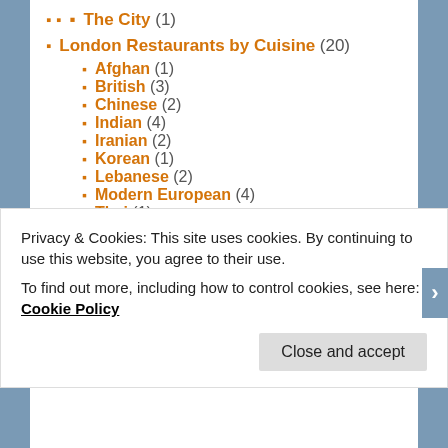The City (1)
London Restaurants by Cuisine (20)
Afghan (1)
British (3)
Chinese (2)
Indian (4)
Iranian (2)
Korean (1)
Lebanese (2)
Modern European (4)
Thai (1)
Turkish (2)
London Reviews (Other) (6)
Bars (2)
Brunch (2)
Privacy & Cookies: This site uses cookies. By continuing to use this website, you agree to their use. To find out more, including how to control cookies, see here: Cookie Policy. Close and accept